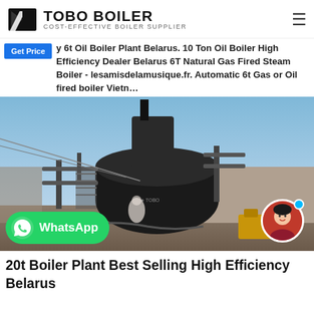TOBO BOILER — COST-EFFECTIVE BOILER SUPPLIER
Get Price — y 6t Oil Boiler Plant Belarus. 10 Ton Oil Boiler High Efficiency Dealer Belarus 6T Natural Gas Fired Steam Boiler - lesamisdelamusique.fr. Automatic 6t Gas or Oil fired boiler Vietn…
[Figure (photo): Industrial oil/gas fired steam boiler photographed outdoors at a facility site, with a worker visible, piping and industrial structures, and a yellow machine in background. WhatsApp button overlay at bottom-left and customer service avatar at bottom-right.]
20t Boiler Plant Best Selling High Efficiency Belarus